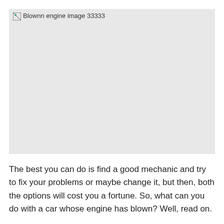[Figure (other): Broken/missing image placeholder labeled 'Blownn engine image 33333' with light gray background]
The best you can do is find a good mechanic and try to fix your problems or maybe change it, but then, both the options will cost you a fortune. So, what can you do with a car whose engine has blown? Well, read on.